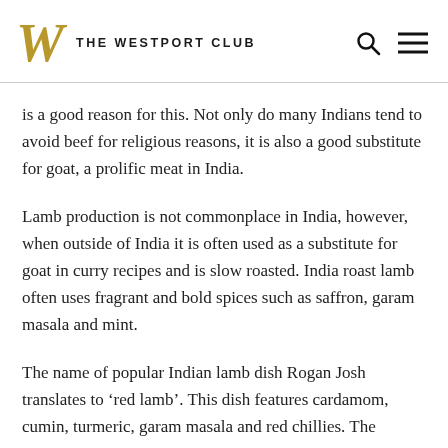THE WESTPORT CLUB
is a good reason for this. Not only do many Indians tend to avoid beef for religious reasons, it is also a good substitute for goat, a prolific meat in India.
Lamb production is not commonplace in India, however, when outside of India it is often used as a substitute for goat in curry recipes and is slow roasted. India roast lamb often uses fragrant and bold spices such as saffron, garam masala and mint.
The name of popular Indian lamb dish Rogan Josh translates to ‘red lamb’. This dish features cardamom, cumin, turmeric, garam masala and red chillies. The